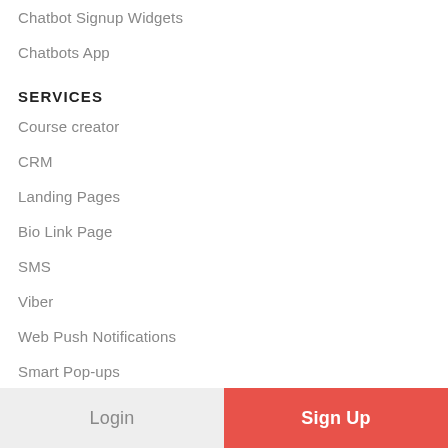Chatbot Signup Widgets
Chatbots App
SERVICES
Course creator
CRM
Landing Pages
Bio Link Page
SMS
Viber
Web Push Notifications
Smart Pop-ups
ABOUT OUR COMPANY
Our Team